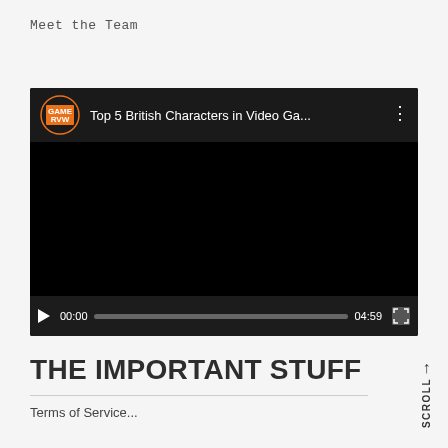Meet the Team
[Figure (screenshot): Embedded video player showing 'Top 5 British Characters in Video Ga...' with GAME RVW logo, black video area, play button, progress bar at 00:00 of 04:59, and fullscreen button.]
THE IMPORTANT STUFF
Terms of Service...